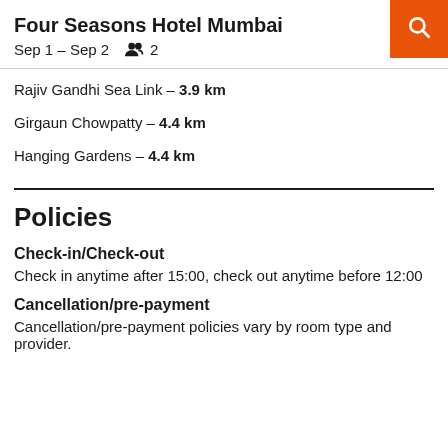Four Seasons Hotel Mumbai
Sep 1 – Sep 2  👥 2
Rajiv Gandhi Sea Link – 3.9 km
Girgaun Chowpatty – 4.4 km
Hanging Gardens – 4.4 km
Policies
Check-in/Check-out
Check in anytime after 15:00, check out anytime before 12:00
Cancellation/pre-payment
Cancellation/pre-payment policies vary by room type and provider.